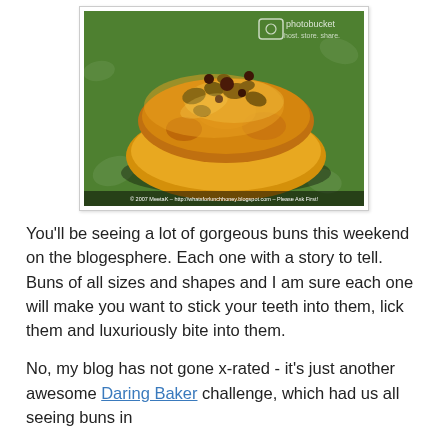[Figure (photo): Close-up photo of a sticky bun with walnuts and caramelized topping on a green surface, with Photobucket watermark and copyright notice for MeetaK whatsforlunchhoney.blogspot.com]
You'll be seeing a lot of gorgeous buns this weekend on the blogesphere. Each one with a story to tell. Buns of all sizes and shapes and I am sure each one will make you want to stick your teeth into them, lick them and luxuriously bite into them.
No, my blog has not gone x-rated - it's just another awesome Daring Baker challenge, which had us all seeing buns in